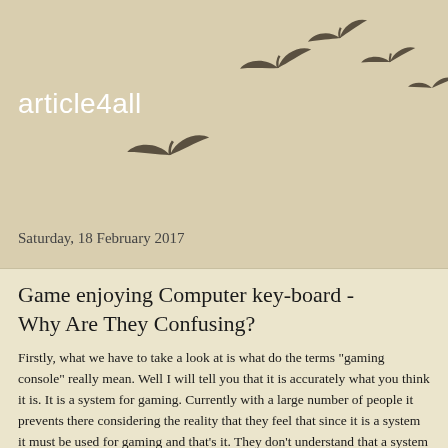article4all
[Figure (illustration): Silhouettes of flying birds in a curved flock formation against a tan/beige background]
Saturday, 18 February 2017
Game enjoying Computer key-board - Why Are They Confusing?
Firstly, what we have to take a look at is what do the terms "gaming console" really mean. Well I will tell you that it is accurately what you think it is. It is a system for gaming. Currently with a large number of people it prevents there considering the reality that they feel that since it is a system it must be used for gaming and that's it. They don't understand that a system may be used for considerably more than merely gaming. So this article is gone for giving some exhortation based to choosing the appropriate system for you. From the my first automated system (the Logitech